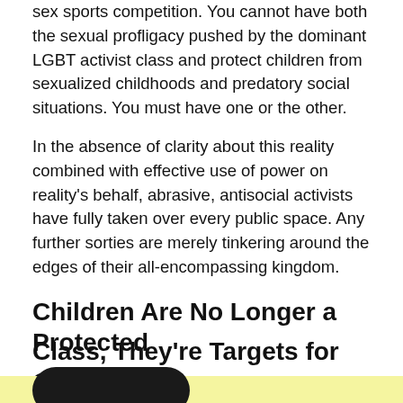sex sports competition. You cannot have both the sexual profligacy pushed by the dominant LGBT activist class and protect children from sexualized childhoods and predatory social situations. You must have one or the other.
In the absence of clarity about this reality combined with effective use of power on reality's behalf, abrasive, antisocial activists have fully taken over every public space. Any further sorties are merely tinkering around the edges of their all-encompassing kingdom.
Children Are No Longer a Protected
Class, They're Targets for Groomers
[Figure (other): Black rounded pill/capsule shape overlaid on a yellow highlighted background area at the bottom of the page]